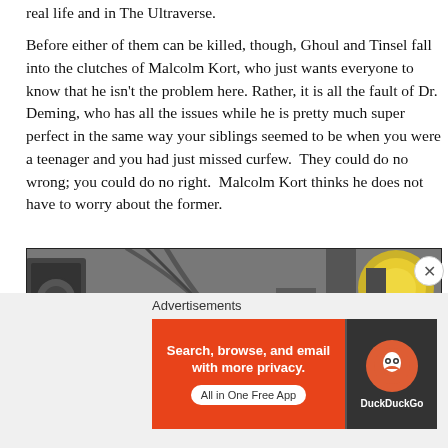real life and in The Ultraverse.
Before either of them can be killed, though, Ghoul and Tinsel fall into the clutches of Malcolm Kort, who just wants everyone to know that he isn't the problem here. Rather, it is all the fault of Dr. Deming, who has all the issues while he is pretty much super perfect in the same way your siblings seemed to be when you were a teenager and you had just missed curfew.  They could do no wrong; you could do no right.  Malcolm Kort thinks he does not have to worry about the former.
[Figure (illustration): Comic panel showing a scene several stories below with characters including Malcolm Kort. Speech bubbles read: 'SEVERAL STORIES BELOW...', '– I SAID NO! I DON'T WANT MY ROOF LITTERED WITH DEAD BODIES!', 'IT LOOKS AS IF DEMING ATTACKED ME FOR NO REASON. I PREFER IT THAT WAY', 'ARE YOU CRAZY, KORT?']
Advertisements
[Figure (screenshot): DuckDuckGo advertisement banner. Left side orange with text: Search, browse, and email with more privacy. All in One Free App. Right side dark with DuckDuckGo logo.]